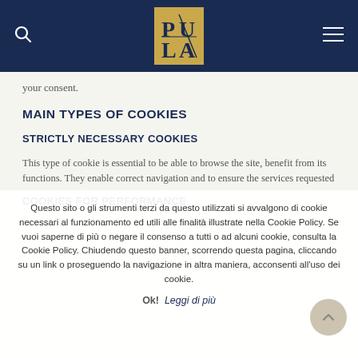Pula website header with logo, search icon, and menu icon
your consent.
MAIN TYPES OF COOKIES
STRICTLY NECESSARY COOKIES
This type of cookie is essential to be able to browse the site, benefit from its functions. They enable correct navigation and to ensure the services requested
COOKIES FOR PERFORMANCE
Questo sito o gli strumenti terzi da questo utilizzati si avvalgono di cookie necessari al funzionamento ed utili alle finalità illustrate nella Cookie Policy. Se vuoi saperne di più o negare il consenso a tutti o ad alcuni cookie, consulta la Cookie Policy. Chiudendo questo banner, scorrendo questa pagina, cliccando su un link o proseguendo la navigazione in altra maniera, acconsenti all'uso dei cookie.
Ok!  Leggi di più